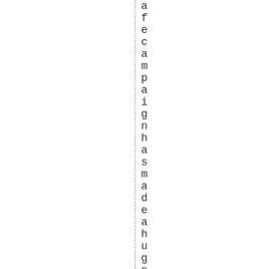a f e c a m p a i g n h a s m a d e a h u g e i m p a c t a